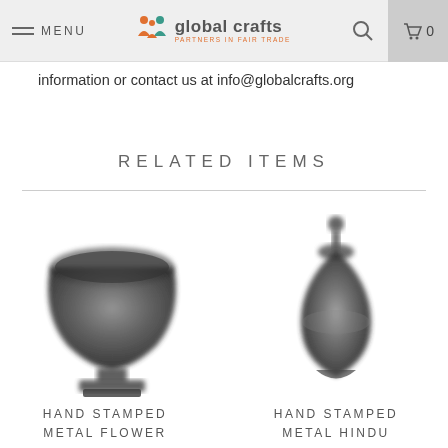Global Crafts — Partners in Fair Trade | MENU | Search | Cart 0
information or contact us at info@globalcrafts.org
RELATED ITEMS
[Figure (photo): Hand stamped metal flower vase/bowl on pedestal, dark metallic finish]
HAND STAMPED METAL FLOWER
[Figure (photo): Hand stamped metal Hindu ornament/lantern, dark metallic finish, diamond/teardrop shape with finial]
HAND STAMPED METAL HINDU